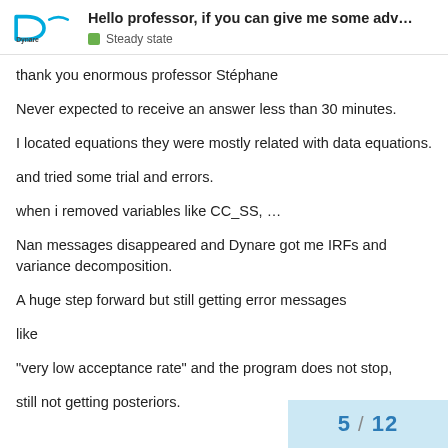Hello professor, if you can give me some adv... — Steady state
thank you enormous professor Stéphane
Never expected to receive an answer less than 30 minutes.
I located equations they were mostly related with data equations.
and tried some trial and errors.
when i removed variables like CC_SS, …
Nan messages disappeared and Dynare got me IRFs and variance decomposition.
A huge step forward but still getting error messages
like
“very low acceptance rate” and the program does not stop,
still not getting posteriors.
5 / 12